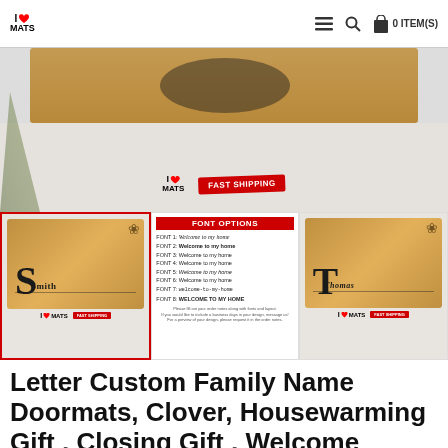I ❤ MATS  ☰ 🔍 🛍 0 ITEM(S)
[Figure (photo): Hero banner showing a custom doormat with floral monogram design, I Love Mats logo and FAST SHIPPING badge]
[Figure (photo): Three product thumbnails: left shows 'Smith' custom doormat with S monogram (selected, red border); center shows 'FONT OPTIONS' chart listing 8 font styles; right shows 'Thomas' doormat with T monogram]
Letter Custom Family Name Doormats, Clover, Housewarming Gift , Closing Gift , Welcome